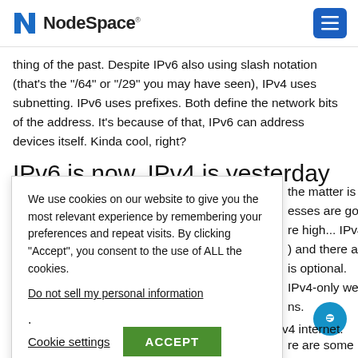NodeSpace
thing of the past. Despite IPv6 also using slash notation (that’s the “/64” or “/29” you may have seen), IPv4 uses subnetting. IPv6 uses prefixes. Both define the network bits of the address. It’s because of that, IPv6 can address devices itself. Kinda cool, right?
IPv6 is now, IPv4 is yesterday
We use cookies on our website to give you the most relevant experience by remembering your preferences and repeat visits. By clicking “Accept”, you consent to the use of ALL the cookies.
Do not sell my personal information.
the matter is web esses are going re high... IPv4 ) and there are is optional. IPv4-only web ns. re are some people in the world who have no access to the IPv4 internet. And in